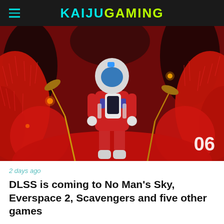KAIJUGAMING
[Figure (photo): A space explorer in a red and white astronaut suit with a blue helmet visor, walking through an alien landscape with dense red fluffy vegetation and dark tree-like structures. A slide number '06' appears in the bottom-right corner.]
2 days ago
DLSS is coming to No Man's Sky, Everspace 2, Scavengers and five other games